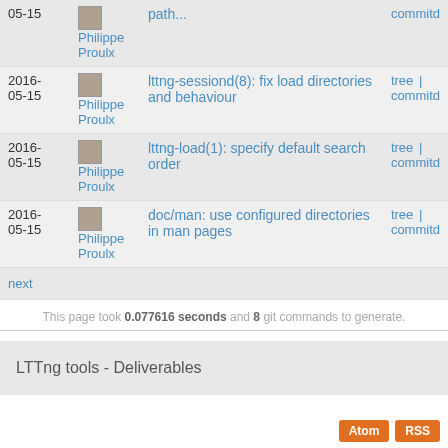| Date | Author | Commit | Links |
| --- | --- | --- | --- |
| 2016-05-15 | Philippe Proulx | path... | commitd |
| 2016-05-15 | Philippe Proulx | lttng-sessiond(8): fix load directories and behaviour | tree | commitd |
| 2016-05-15 | Philippe Proulx | lttng-load(1): specify default search order | tree | commitd |
| 2016-05-15 | Philippe Proulx | doc/man: use configured directories in man pages | tree | commitd |
next
This page took 0.077616 seconds and 8 git commands to generate.
LTTng tools - Deliverables